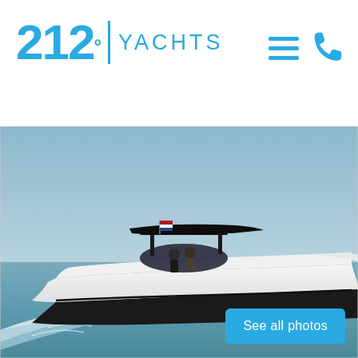212° YACHTS
[Figure (photo): A sleek white luxury motor yacht with a black hull speeding across open water. Two people visible at the helm. T-top style hardtop. Dutch flag visible. Blue sky background with distant shoreline.]
See all photos